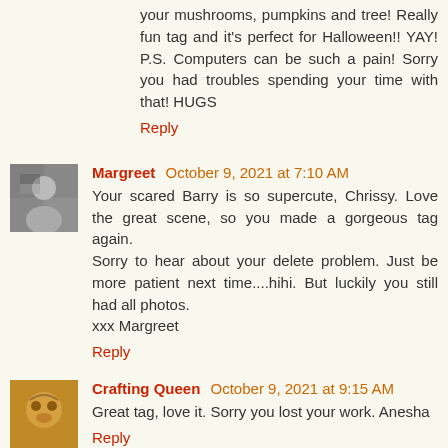your mushrooms, pumpkins and tree! Really fun tag and it's perfect for Halloween!! YAY! P.S. Computers can be such a pain! Sorry you had troubles spending your time with that! HUGS
Reply
[Figure (photo): Avatar photo of Margreet, an older person in black and white checkered clothing]
Margreet October 9, 2021 at 7:10 AM
Your scared Barry is so supercute, Chrissy. Love the great scene, so you made a gorgeous tag again.
Sorry to hear about your delete problem. Just be more patient next time....hihi. But luckily you still had all photos.
xxx Margreet
Reply
[Figure (photo): Avatar photo of Crafting Queen, a cat or animal close-up with orange/brown tones]
Crafting Queen October 9, 2021 at 9:15 AM
Great tag, love it. Sorry you lost your work. Anesha
Reply